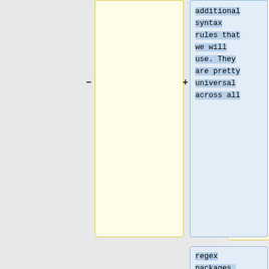[Figure (screenshot): Diff view showing two columns of code/text boxes. Left column (yellow boxes) shows old content, right column (blue boxes) shows new/added content. Content includes text about regex packages and wiki table syntax. Minus and plus signs indicate removed/added lines.]
identities –
additional syntax rules that we will use. They are pretty universal across all
regex packages.
{|
Class="wikitable"
{|
class="wikitable"
style="text-align: left"|
|-
|Pattern